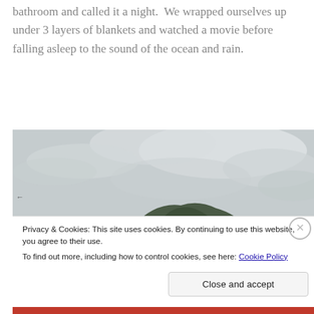bathroom and called it a night.  We wrapped ourselves up under 3 layers of blankets and watched a movie before falling asleep to the sound of the ocean and rain.
[Figure (photo): Photograph of a large rocky mountain or hill formation under an overcast cloudy sky, partially obscured by mist or cloud.]
Privacy & Cookies: This site uses cookies. By continuing to use this website, you agree to their use.
To find out more, including how to control cookies, see here: Cookie Policy
Close and accept